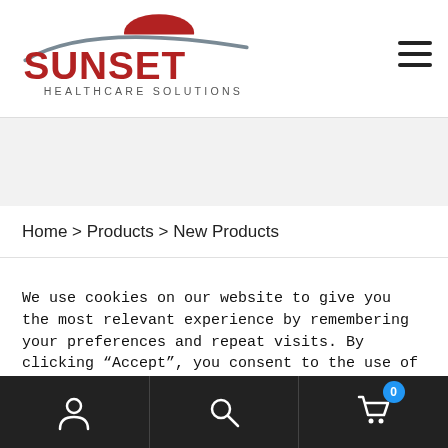[Figure (logo): Sunset Healthcare Solutions logo — red semicircle sun with gray swoosh arc, bold red SUNSET text, gray HEALTHCARE SOLUTIONS text below]
Home > Products > New Products
We use cookies on our website to give you the most relevant experience by remembering your preferences and repeat visits. By clicking “Accept”, you consent to the use of ALL the cookies.
Do not sell my personal information.
[Figure (infographic): Bottom navigation bar with person/account icon, search icon, and shopping cart icon with blue badge showing 0]